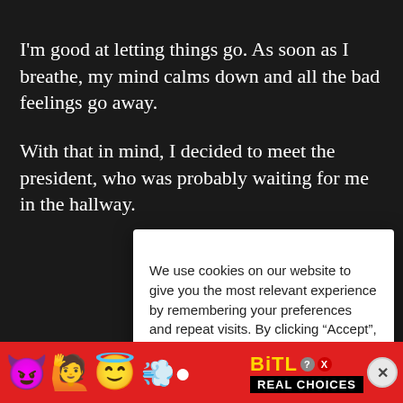I'm good at letting things go. As soon as I breathe, my mind calms down and all the bad feelings go away.
With that in mind, I decided to meet the president, who was probably waiting for me in the hallway.
We use cookies on our website to give you the most relevant experience by remembering your preferences and repeat visits. By clicking “Accept”, you consent to the use of ALL the cookies.
Do not sell my personal information.
Report Ad
[Figure (screenshot): BitLife advertisement banner with emoji icons (devil, person with hands up, angel emoji), sperm emoji, and BitLife logo with 'REAL CHOICES' text on black background, with a close button.]